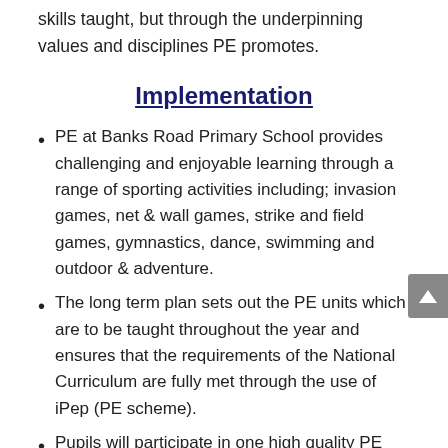skills taught, but through the underpinning values and disciplines PE promotes.
Implementation
PE at Banks Road Primary School provides challenging and enjoyable learning through a range of sporting activities including; invasion games, net & wall games, strike and field games, gymnastics, dance, swimming and outdoor & adventure.
The long term plan sets out the PE units which are to be taught throughout the year and ensures that the requirements of the National Curriculum are fully met through the use of iPep (PE scheme).
Pupils will participate in one high quality PE lesson each week, covering two sporting disciplines every half term. In addition, children